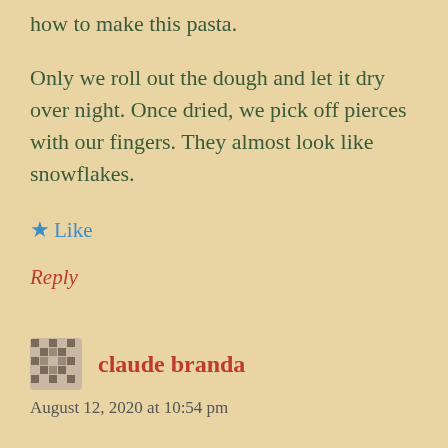how to make this pasta.
Only we roll out the dough and let it dry over night. Once dried, we pick off pierces with our fingers. They almost look like snowflakes.
Like
Reply
claude branda
August 12, 2020 at 10:54 pm
Amazing I finally found Malenbon, as it has